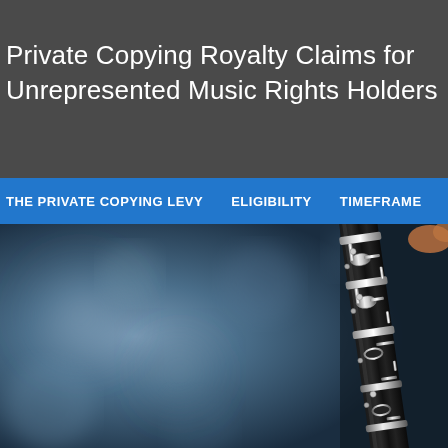Private Copying Royalty Claims for Unrepresented Music Rights Holders
THE PRIVATE COPYING LEVY   ELIGIBILITY   TIMEFRAME
[Figure (photo): Close-up photograph of a black and silver clarinet against a blurred blue background]